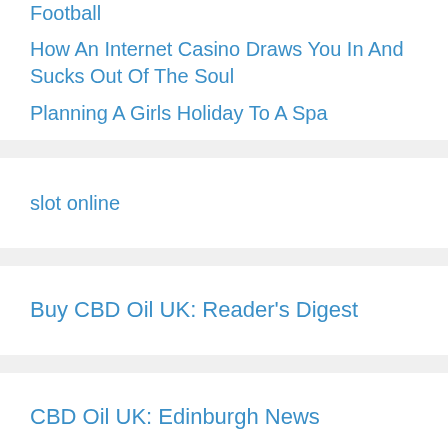Football
How An Internet Casino Draws You In And Sucks Out Of The Soul
Planning A Girls Holiday To A Spa
slot online
Buy CBD Oil UK: Reader's Digest
CBD Oil UK: Edinburgh News